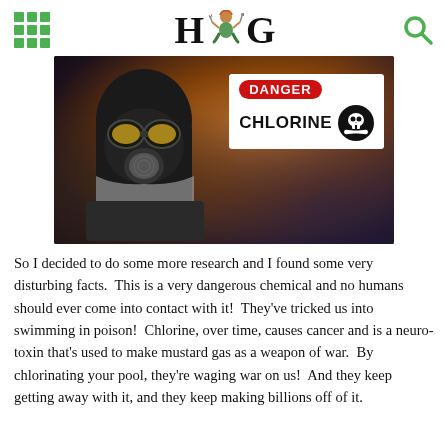HUG (logo with gardening figure)
[Figure (photo): Person wearing a gas mask with fiery smoky background; overlaid warning sign reading DANGER CHLORINE with skull and crossbones symbol]
So I decided to do some more research and I found some very disturbing facts.  This is a very dangerous chemical and no humans should ever come into contact with it!  They've tricked us into swimming in poison!  Chlorine, over time, causes cancer and is a neuro-toxin that's used to make mustard gas as a weapon of war.  By chlorinating your pool, they're waging war on us!  And they keep getting away with it, and they keep making billions off of it.